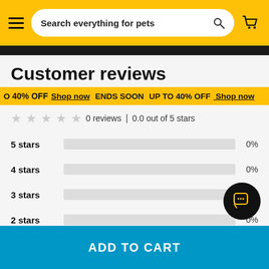Search everything for pets
UP TO 40% OFF Shop now ENDS SOON UP TO 40% OFF Shop now
Customer reviews
0 reviews | 0.0 out of 5 stars
| Stars | Percentage |
| --- | --- |
| 5 stars | 0% |
| 4 stars | 0% |
| 3 stars | 0% |
| 2 stars | 0% |
| 1 star | 0% |
ADD TO CART